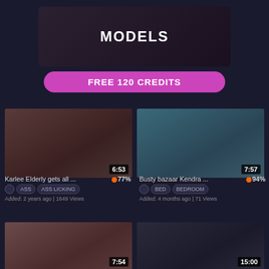[Figure (screenshot): Adult website banner with models text and pink button reading FREE 120 CREDITS]
[Figure (screenshot): Video thumbnail left - duration 6:53]
[Figure (screenshot): Video thumbnail right - duration 7:57]
Karlee Elderly gets all ... 77%
Busty bazaar Kendra ... 94%
ASS  ASS LICKING
BED  BEDROOM
Added: 2 years ago | 1649 Views
Added: 4 months ago | 71 Views
[Figure (screenshot): Video thumbnail left - duration 7:54]
[Figure (screenshot): Video thumbnail right - duration 15:00]